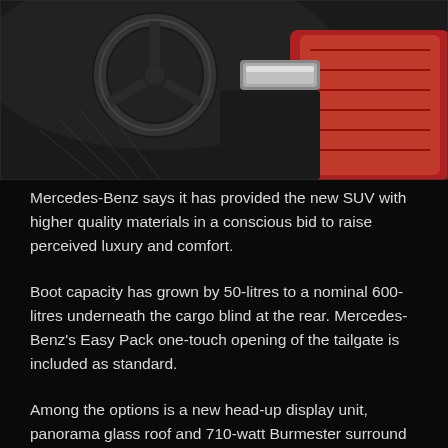[Figure (photo): Interior of a Mercedes-Benz SUV showing the steering wheel, dashboard, red seat, and silver center console trim against a dark background.]
Mercedes-Benz says it has provided the new SUV with higher quality materials in a conscious bid to raise perceived luxury and comfort.
Boot capacity has grown by 50-litres to a nominal 600-litres underneath the cargo blind at the rear. Mercedes-Benz's Easy Pack one-touch opening of the tailgate is included as standard.
Among the options is a new head-up display unit, panorama glass roof and 710-watt Burmester surround sound system